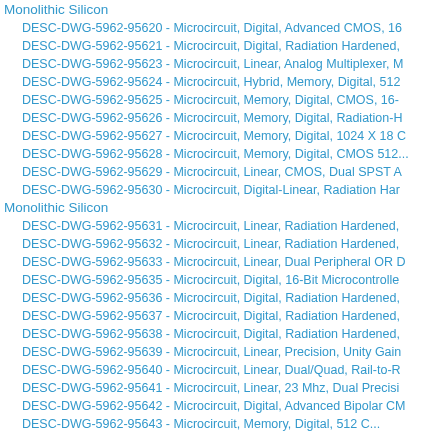Monolithic Silicon
DESC-DWG-5962-95620 - Microcircuit, Digital, Advanced CMOS, 16...
DESC-DWG-5962-95621 - Microcircuit, Digital, Radiation Hardened...
DESC-DWG-5962-95623 - Microcircuit, Linear, Analog Multiplexer, M...
DESC-DWG-5962-95624 - Microcircuit, Hybrid, Memory, Digital, 512...
DESC-DWG-5962-95625 - Microcircuit, Memory, Digital, CMOS, 16-...
DESC-DWG-5962-95626 - Microcircuit, Memory, Digital, Radiation-H...
DESC-DWG-5962-95627 - Microcircuit, Memory, Digital, 1024 X 18 C...
DESC-DWG-5962-95628 - Microcircuit, Memory, Digital, CMOS 512...
DESC-DWG-5962-95629 - Microcircuit, Linear, CMOS, Dual SPST A...
DESC-DWG-5962-95630 - Microcircuit, Digital-Linear, Radiation Har...
Monolithic Silicon
DESC-DWG-5962-95631 - Microcircuit, Linear, Radiation Hardened,...
DESC-DWG-5962-95632 - Microcircuit, Linear, Radiation Hardened,...
DESC-DWG-5962-95633 - Microcircuit, Linear, Dual Peripheral OR D...
DESC-DWG-5962-95635 - Microcircuit, Digital, 16-Bit Microcontrolle...
DESC-DWG-5962-95636 - Microcircuit, Digital, Radiation Hardened,...
DESC-DWG-5962-95637 - Microcircuit, Digital, Radiation Hardened,...
DESC-DWG-5962-95638 - Microcircuit, Digital, Radiation Hardened,...
DESC-DWG-5962-95639 - Microcircuit, Linear, Precision, Unity Gain...
DESC-DWG-5962-95640 - Microcircuit, Linear, Dual/Quad, Rail-to-R...
DESC-DWG-5962-95641 - Microcircuit, Linear, 23 Mhz, Dual Precisi...
DESC-DWG-5962-95642 - Microcircuit, Digital, Advanced Bipolar CM...
DESC-DWG-5962-95643 - Microcircuit, Memory, Digital, 512 C...